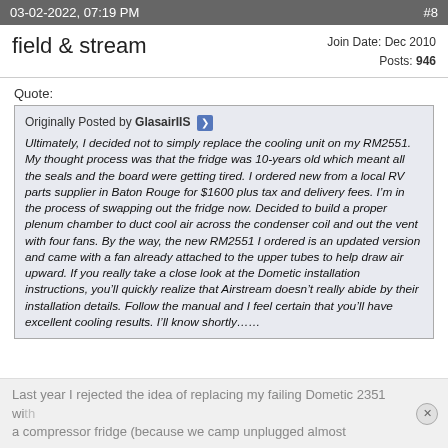03-02-2022, 07:19 PM   #8
field & stream   Join Date: Dec 2010  Posts: 946
Quote:
Originally Posted by GlasairIIS
Ultimately, I decided not to simply replace the cooling unit on my RM2551. My thought process was that the fridge was 10-years old which meant all the seals and the board were getting tired. I ordered new from a local RV parts supplier in Baton Rouge for $1600 plus tax and delivery fees. I’m in the process of swapping out the fridge now. Decided to build a proper plenum chamber to duct cool air across the condenser coil and out the vent with four fans. By the way, the new RM2551 I ordered is an updated version and came with a fan already attached to the upper tubes to help draw air upward. If you really take a close look at the Dometic installation instructions, you’ll quickly realize that Airstream doesn’t really abide by their installation details. Follow the manual and I feel certain that you’ll have excellent cooling results. I’ll know shortly…….
Last year I rejected the idea of replacing my failing Dometic 2351 with a compressor fridge (because we camp unplugged almost